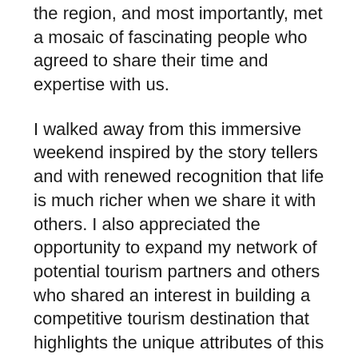the region, and most importantly, met a mosaic of fascinating people who agreed to share their time and expertise with us.
I walked away from this immersive weekend inspired by the story tellers and with renewed recognition that life is much richer when we share it with others. I also appreciated the opportunity to expand my network of potential tourism partners and others who shared an interest in building a competitive tourism destination that highlights the unique attributes of this area, while demonstrating leadership in product and experiential development.
Feeling encouraged, I followed up by applying for and receiving RTOS funding